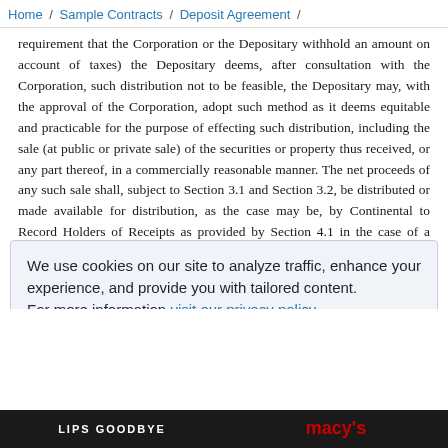Home / Sample Contracts / Deposit Agreement /
requirement that the Corporation or the Depositary withhold an amount on account of taxes) the Depositary deems, after consultation with the Corporation, such distribution not to be feasible, the Depositary may, with the approval of the Corporation, adopt such method as it deems equitable and practicable for the purpose of effecting such distribution, including the sale (at public or private sale) of the securities or property thus received, or any part thereof, in a commercially reasonable manner. The net proceeds of any such sale shall, subject to Section 3.1 and Section 3.2, be distributed or made available for distribution, as the case may be, by Continental to Record Holders of Receipts as provided by Section 4.1 in the case of a distribution received in cash. The Corporation shall not make any distribution of such securities or property to the Depositary and the Depositary shall not make any distribution of
We use cookies on our site to analyze traffic, enhance your experience, and provide you with tailored content.
For more information visit our privacy policy.
Accept All Cookies
[Figure (photo): Advertisement strip at the bottom showing 'LIPS GOODBYE' text on left and 'macys' logo on right with a woman's face in the center]